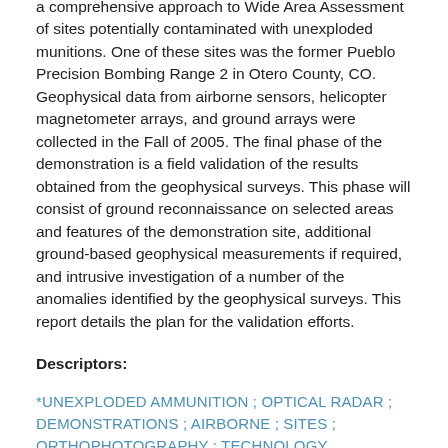a comprehensive approach to Wide Area Assessment of sites potentially contaminated with unexploded munitions. One of these sites was the former Pueblo Precision Bombing Range 2 in Otero County, CO. Geophysical data from airborne sensors, helicopter magnetometer arrays, and ground arrays were collected in the Fall of 2005. The final phase of the demonstration is a field validation of the results obtained from the geophysical surveys. This phase will consist of ground reconnaissance on selected areas and features of the demonstration site, additional ground-based geophysical measurements if required, and intrusive investigation of a number of the anomalies identified by the geophysical surveys. This report details the plan for the validation efforts.
Descriptors:
*UNEXPLODED AMMUNITION ; OPTICAL RADAR ; DEMONSTRATIONS ; AIRBORNE ; SITES ; ORTHOPHOTOGRAPHY ; TECHNOLOGY ASSESSMENT ; MAGNETOMETERS ; CONTAMINATION ; GEOPHYSICS ; RECONNAISSANCE ; INTRUSION